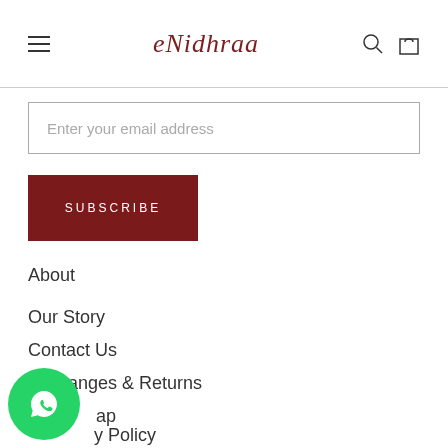eNidhraa — navigation header with hamburger menu, logo, search and cart icons
Enter your email address
SUBSCRIBE
About
Our Story
Contact Us
Exchanges & Returns
Sitemap
Privacy Policy
[Figure (logo): WhatsApp chat button — green circle with phone handset icon]